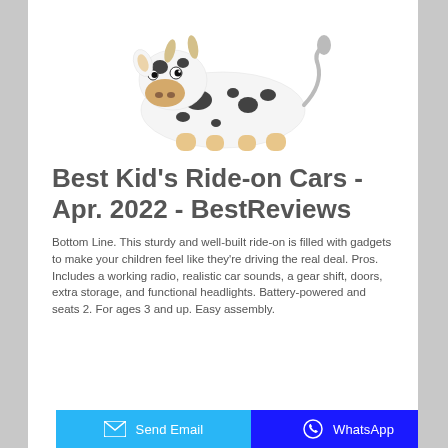[Figure (photo): A stuffed animal ride-on toy shaped like a black-and-white spotted cow with tan hooves and a cute cartoonish face, viewed from a three-quarter angle.]
Best Kid's Ride-on Cars - Apr. 2022 - BestReviews
Bottom Line. This sturdy and well-built ride-on is filled with gadgets to make your children feel like they're driving the real deal. Pros. Includes a working radio, realistic car sounds, a gear shift, doors, extra storage, and functional headlights. Battery-powered and seats 2. For ages 3 and up. Easy assembly.
Send Email | WhatsApp